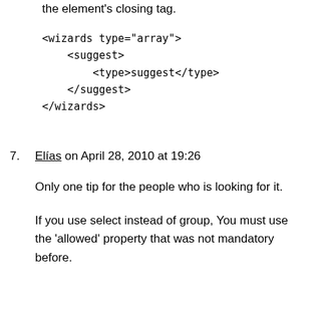the element's closing tag.
<wizards type="array">
    <suggest>
        <type>suggest</type>
    </suggest>
</wizards>
7. Elías on April 28, 2010 at 19:26

Only one tip for the people who is looking for it.

If you use select instead of group, You must use the 'allowed' property that was not mandatory before.